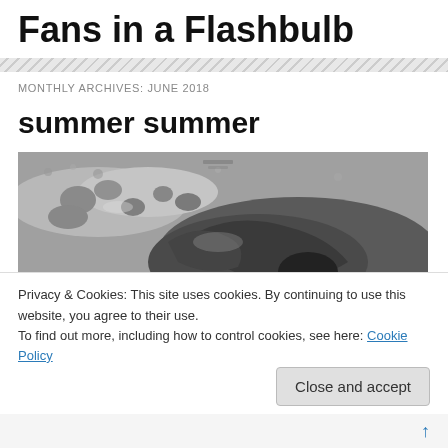Fans in a Flashbulb
MONTHLY ARCHIVES: JUNE 2018
summer summer
[Figure (photo): Black and white photograph of wet sand and rocky beach with stones and rippled water texture]
Privacy & Cookies: This site uses cookies. By continuing to use this website, you agree to their use.
To find out more, including how to control cookies, see here: Cookie Policy
Close and accept